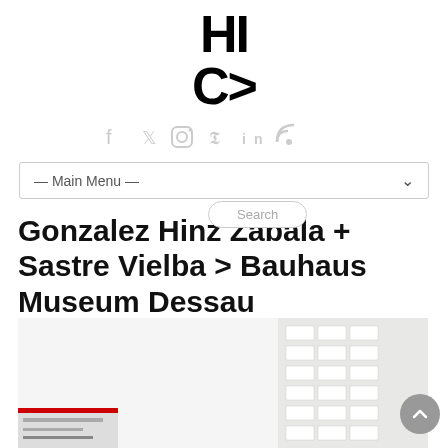[Figure (logo): HI C> logo in large bold black sans-serif letters, centered at top]
[Figure (infographic): Row of social media icons: Facebook, Twitter, Instagram, Pinterest, LinkedIn, RSS feed - in light grey]
— Main Menu —
Search
Gonzalez Hinz Zabala + Sastre Vielba > Bauhaus Museum Dessau
[Figure (photo): Partial view of a building exterior showing a modernist white facade with horizontal bands of windows on the right side, and a lower portion of signage visible at bottom left]